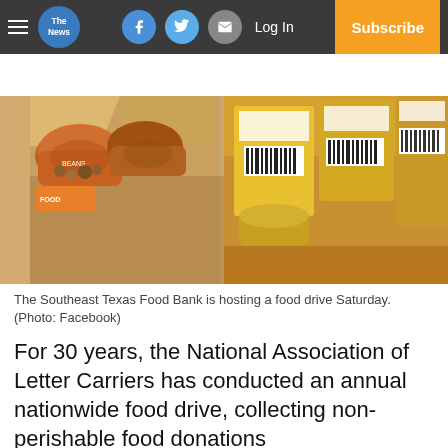The News — Log In | Subscribe
[Figure (photo): Two cardboard boxes filled with non-perishable food donations — left box contains bags of beans/nuts with orange packaging, right box contains yellow boxes and canned goods with barcodes visible.]
The Southeast Texas Food Bank is hosting a food drive Saturday. (Photo: Facebook)
For 30 years, the National Association of Letter Carriers has conducted an annual nationwide food drive, collecting non-perishable food donations